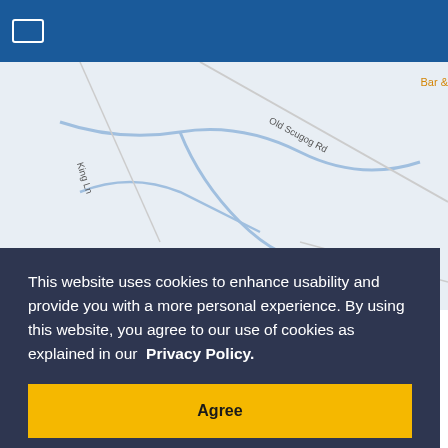[Figure (screenshot): Website screenshot showing a map area with a cookie consent overlay. The map shows roads labeled 'Old Scugog Rd' and 'King Ln' with blue waterways on a light gray background. A dark navy overlay contains a cookie consent message and Agree button.]
This website uses cookies to enhance usability and provide you with a more personal experience. By using this website, you agree to our use of cookies as explained in our  Privacy Policy.
Agree